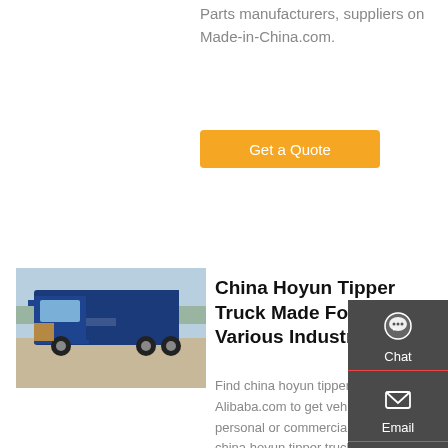Parts manufacturers, suppliers on Made-in-China.com.
[Figure (other): Orange 'Get a Quote' button]
[Figure (photo): Photo of a blue Hoyun tipper truck (HOWO) parked in a yard]
China Hoyun Tipper Truck Made For Various Industries
Find china hoyun tipper truck on Alibaba.com to get vehicles for your personal or commercial use. Get china hoyun tipper truck that can handle heavy loads at prices that will work for you. China Tipper Truck China 10 Wheel 371hp 375hp 30 Cube...
[Figure (infographic): Dark grey sidebar with Chat, Email, Contact, and Top icons]